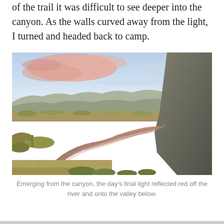of the trail it was difficult to see deeper into the canyon. As the walls curved away from the light, I turned and headed back to camp.
[Figure (photo): Aerial/elevated view of a winding river (likely the Rio Grande in Big Bend area) at dusk/sunset. The sky shows pink and lavender clouds. Rocky canyon wall rises on the right side. Desert scrub vegetation lines the riverbanks. Mountains visible in the distant background. The river reflects the pink-red tones of the sunset sky.]
Emerging from the canyon, the day's final light reflected red off the river and onto the valley below.